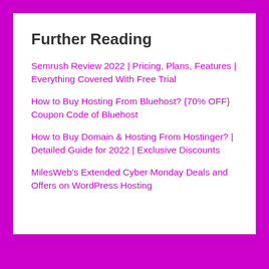Further Reading
Semrush Review 2022 | Pricing, Plans, Features | Everything Covered With Free Trial
How to Buy Hosting From Bluehost? {70% OFF} Coupon Code of Bluehost
How to Buy Domain & Hosting From Hostinger? | Detailed Guide for 2022 | Exclusive Discounts
MilesWeb's Extended Cyber Monday Deals and Offers on WordPress Hosting